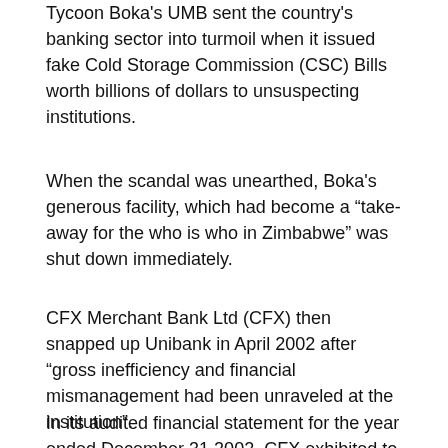Tycoon Boka's UMB sent the country's banking sector into turmoil when it issued fake Cold Storage Commission (CSC) Bills worth billions of dollars to unsuspecting institutions.
When the scandal was unearthed, Boka's generous facility, which had become a “take-away for the who is who in Zimbabwe” was shut down immediately.
CFX Merchant Bank Ltd (CFX) then snapped up Unibank in April 2002 after “gross inefficiency and financial mismanagement had been unraveled at the institution”.
In its audited financial statement for the year ended December 31 2002, CFX exhibited to be